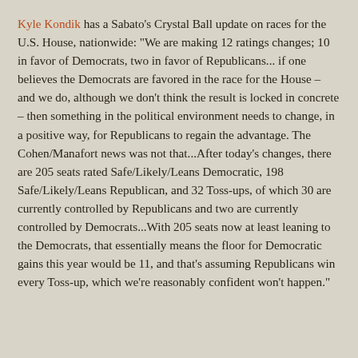Kyle Kondik has a Sabato's Crystal Ball update on races for the U.S. House, nationwide: "We are making 12 ratings changes; 10 in favor of Democrats, two in favor of Republicans... if one believes the Democrats are favored in the race for the House – and we do, although we don't think the result is locked in concrete – then something in the political environment needs to change, in a positive way, for Republicans to regain the advantage. The Cohen/Manafort news was not that...After today's changes, there are 205 seats rated Safe/Likely/Leans Democratic, 198 Safe/Likely/Leans Republican, and 32 Toss-ups, of which 30 are currently controlled by Republicans and two are currently controlled by Democrats...With 205 seats now at least leaning to the Democrats, that essentially means the floor for Democratic gains this year would be 11, and that's assuming Republicans win every Toss-up, which we're reasonably confident won't happen."